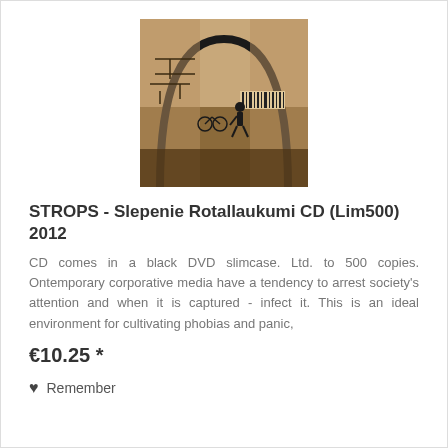[Figure (photo): Sepia-toned photograph of a person walking near an arch structure with industrial/urban graffiti-like circuit board patterns on the wall. A barcode appears in the upper right area of the image.]
STROPS - Slepenie Rotallaukumi CD (Lim500) 2012
CD comes in a black DVD slimcase. Ltd. to 500 copies. Ontemporary corporative media have a tendency to arrest society's attention and when it is captured - infect it. This is an ideal environment for cultivating phobias and panic,
€10.25 *
Remember